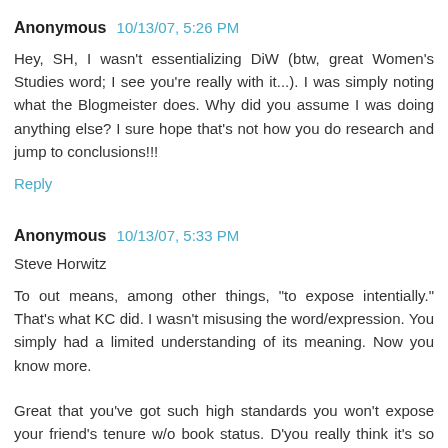Anonymous 10/13/07, 5:26 PM
Hey, SH, I wasn't essentializing DiW (btw, great Women's Studies word; I see you're really with it...). I was simply noting what the Blogmeister does. Why did you assume I was doing anything else? I sure hope that's not how you do research and jump to conclusions!!!
Reply
Anonymous 10/13/07, 5:33 PM
Steve Horwitz
To out means, among other things, "to expose intentially." That's what KC did. I wasn't misusing the word/expression. You simply had a limited understanding of its meaning. Now you know more.
Great that you've got such high standards you won't expose your friend's tenure w/o book status. D'you really think it's so great when KC does it here?